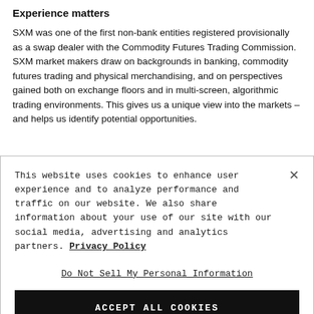Experience matters
SXM was one of the first non-bank entities registered provisionally as a swap dealer with the Commodity Futures Trading Commission. SXM market makers draw on backgrounds in banking, commodity futures trading and physical merchandising, and on perspectives gained both on exchange floors and in multi-screen, algorithmic trading environments. This gives us a unique view into the markets – and helps us identify potential opportunities.
This website uses cookies to enhance user experience and to analyze performance and traffic on our website. We also share information about your use of our site with our social media, advertising and analytics partners. Privacy Policy
Do Not Sell My Personal Information
ACCEPT ALL COOKIES